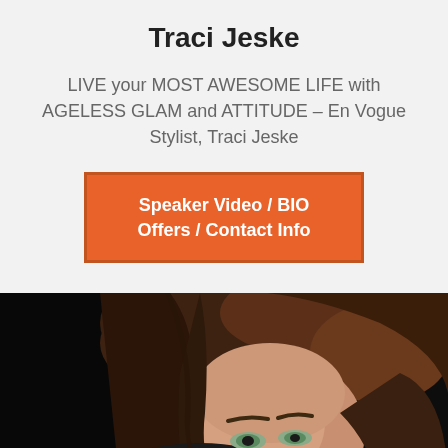Traci Jeske
LIVE your MOST AWESOME LIFE with AGELESS GLAM and ATTITUDE – En Vogue Stylist, Traci Jeske
[Figure (other): Orange button with text: Speaker Video / BIO Offers / Contact Info]
[Figure (photo): Close-up portrait photo of a woman with brown hair against a dark background, with an orange 'NEW' corner banner in the top-left]